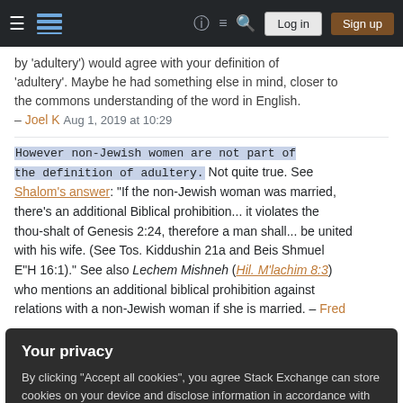Stack Exchange navigation bar with hamburger menu, logo, help, chat, search icons, Log in and Sign up buttons
by 'adultery') would agree with your definition of 'adultery'. Maybe he had something else in mind, closer to the commons understanding of the word in English. – Joel K Aug 1, 2019 at 10:29
However non-Jewish women are not part of the definition of adultery. Not quite true. See Shalom's answer: "If the non-Jewish woman was married, there's an additional Biblical prohibition... it violates the thou-shalt of Genesis 2:24, therefore a man shall... be united with his wife. (See Tos. Kiddushin 21a and Beis Shmuel E"H 16:1)." See also Lechem Mishneh (Hil. M'lachim 8:3) who mentions an additional biblical prohibition against relations with a non-Jewish woman if she is married. – Fred
Your privacy
By clicking "Accept all cookies", you agree Stack Exchange can store cookies on your device and disclose information in accordance with our Cookie Policy.
man could go find another woman without breaking
the halakhic rules about how he defined the definition of